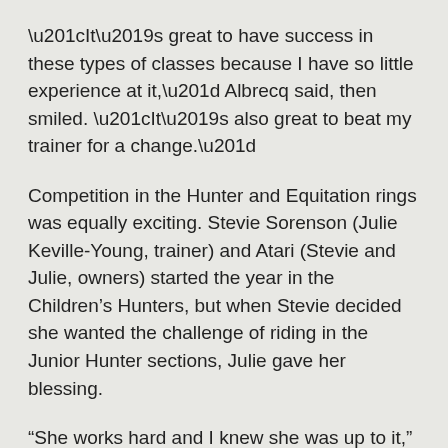“It’s great to have success in these types of classes because I have so little experience at it,” Albrecq said, then smiled. “It’s also great to beat my trainer for a change.”
Competition in the Hunter and Equitation rings was equally exciting. Stevie Sorenson (Julie Keville-Young, trainer) and Atari (Stevie and Julie, owners) started the year in the Children’s Hunters, but when Stevie decided she wanted the challenge of riding in the Junior Hunter sections, Julie gave her blessing.
“She works hard and I knew she was up to it,” Keville-Young said. “Atari is a First Year horse and still green, so he’s a little difficult when it comes to adjustability. Stevie really has to pay attention, make a plan and stick with it, and she did a fantastic job.”